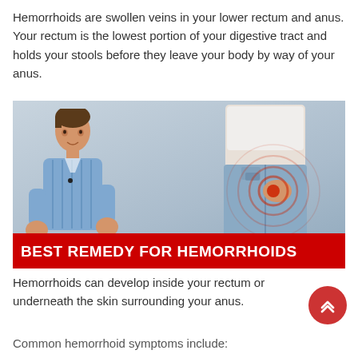Hemorrhoids are swollen veins in your lower rectum and anus. Your rectum is the lowest portion of your digestive tract and holds your stools before they leave your body by way of your anus.
[Figure (photo): A doctor/presenter on the left side against a grey-blue background, and a person holding their lower back with red concentric circle pain indicator on the right. Red banner at bottom reads BEST REMEDY FOR HEMORRHOIDS.]
Hemorrhoids can develop inside your rectum or underneath the skin surrounding your anus.
Common hemorrhoid symptoms include: